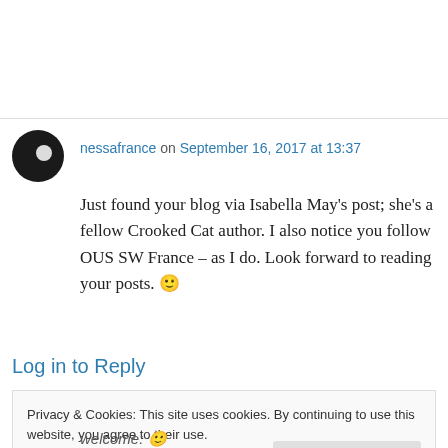nessafrance on September 16, 2017 at 13:37
Just found your blog via Isabella May's post; she's a fellow Crooked Cat author. I also notice you follow OUS SW France – as I do. Look forward to reading your posts. 🙂
★ Liked by 1 person
Log in to Reply
Privacy & Cookies: This site uses cookies. By continuing to use this website, you agree to their use. To find out more, including how to control cookies, see here: Cookie Policy
Close and accept
welcome: 🙂